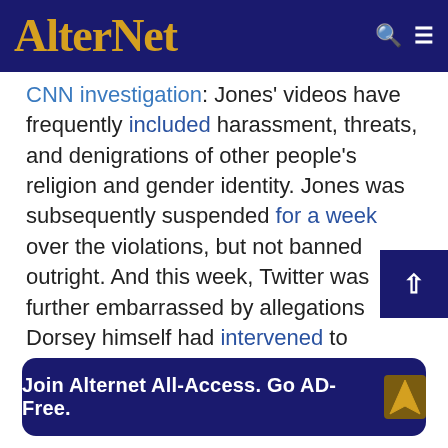AlterNet
CNN investigation: Jones' videos have frequently included harassment, threats, and denigrations of other people's religion and gender identity. Jones was subsequently suspended for a week over the violations, but not banned outright. And this week, Twitter was further embarrassed by allegations Dorsey himself had intervened to prevent Jones from being banned, a charge Dorsey denies.
Join Alternet All-Access. Go AD-Free.